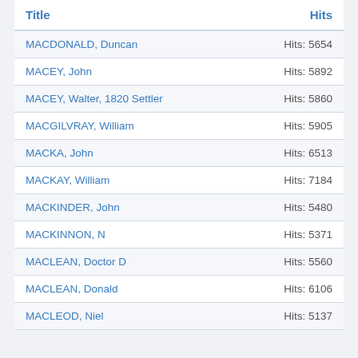| Title | Hits |
| --- | --- |
| MACDONALD, Duncan | Hits: 5654 |
| MACEY, John | Hits: 5892 |
| MACEY, Walter, 1820 Settler | Hits: 5860 |
| MACGILVRAY, William | Hits: 5905 |
| MACKA, John | Hits: 6513 |
| MACKAY, William | Hits: 7184 |
| MACKINDER, John | Hits: 5480 |
| MACKINNON, N | Hits: 5371 |
| MACLEAN, Doctor D | Hits: 5560 |
| MACLEAN, Donald | Hits: 6106 |
| MACLEOD, Niel | Hits: 5137 |